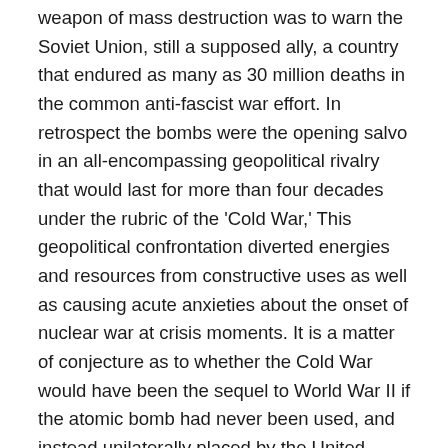weapon of mass destruction was to warn the Soviet Union, still a supposed ally, a country that endured as many as 30 million deaths in the common anti-fascist war effort. In retrospect the bombs were the opening salvo in an all-encompassing geopolitical rivalry that would last for more than four decades under the rubric of the 'Cold War,' This geopolitical confrontation diverted energies and resources from constructive uses as well as causing acute anxieties about the onset of nuclear war at crisis moments. It is a matter of conjecture as to whether the Cold War would have been the sequel to World War II if the atomic bomb had never been used, and instead unilaterally placed by the United States under strict and responsible international control as codified in a lawmaking disarmament treaty. Of all the roads not taken this may have been the most crucial one as it might have allowed post-1945 history to evolve in a less violent, more benign, manner, giving